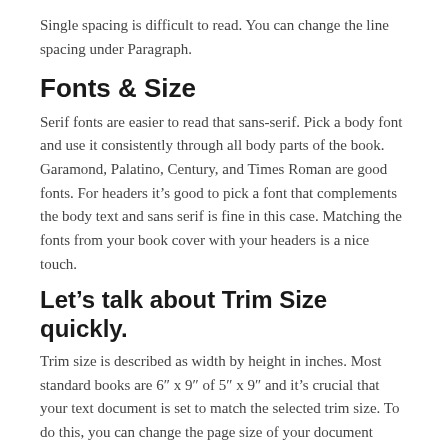Single spacing is difficult to read. You can change the line spacing under Paragraph.
Fonts & Size
Serif fonts are easier to read that sans-serif. Pick a body font and use it consistently through all body parts of the book. Garamond, Palatino, Century, and Times Roman are good fonts. For headers it's good to pick a font that complements the body text and sans serif is fine in this case. Matching the fonts from your book cover with your headers is a nice touch.
Let’s talk about Trim Size quickly.
Trim size is described as width by height in inches. Most standard books are 6″ x 9″ of 5″ x 9″ and it’s crucial that your text document is set to match the selected trim size. To do this, you can change the page size of your document under Page Setup or Page Layout. It is automatically set to the default paper size, but you’ll